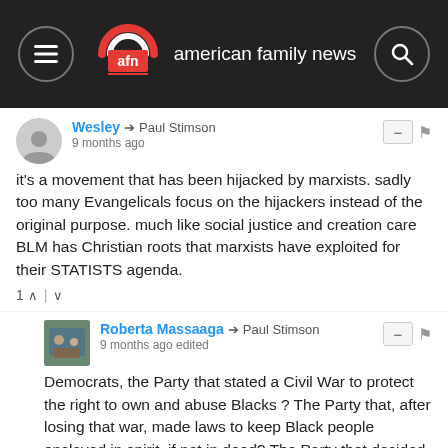american family news
Wesley → Paul Stimson
9 months ago
it's a movement that has been hijacked by marxists. sadly too many Evangelicals focus on the hijackers instead of the original purpose. much like social justice and creation care BLM has Christian roots that marxists have exploited for their STATISTS agenda.
Roberta Massaaga → Paul Stimson
9 months ago edited
Democrats, the Party that stated a Civil War to protect the right to own and abuse Blacks ? The Party that, after losing that war, made laws to keep Black people enslaved in spirit, if not in deed? The Party that decided that in order to make life equal reduced police presence, and that resulted in last year being an historic year for Black murders ? BLM is NOT making life better for most Blacks, but it made the leaders